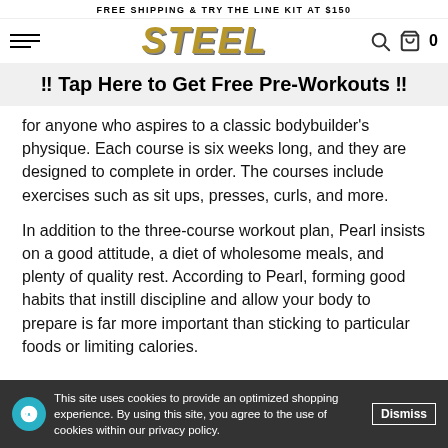FREE SHIPPING & TRY THE LINE KIT AT $150
[Figure (logo): STEEL brand logo in gold italic bold text with navigation hamburger menu, search icon, and cart icon showing 0]
!! Tap Here to Get Free Pre-Workouts !!
for anyone who aspires to a classic bodybuilder's physique. Each course is six weeks long, and they are designed to complete in order. The courses include exercises such as sit ups, presses, curls, and more.
In addition to the three-course workout plan, Pearl insists on a good attitude, a diet of wholesome meals, and plenty of quality rest. According to Pearl, forming good habits that instill discipline and allow your body to prepare is far more important than sticking to particular foods or limiting calories.
This site uses cookies to provide an optimized shopping experience. By using this site, you agree to the use of cookies within our privacy policy. Dismiss